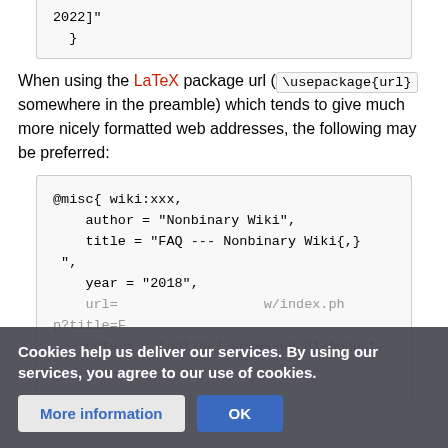2022]"  }
When using the LaTeX package url ( \usepackage{url} somewhere in the preamble) which tends to give much more nicely formatted web addresses, the following may be preferred:
@misc{ wiki:xxx,
    author = "Nonbinary Wiki",
    title = "FAQ --- Nonbinary Wiki{,}",
    year = "2018",
    url = "...w/index.php?title=F...",
    note = "[online] accessed 31-August-
Cookies help us deliver our services. By using our services, you agree to our use of cookies.